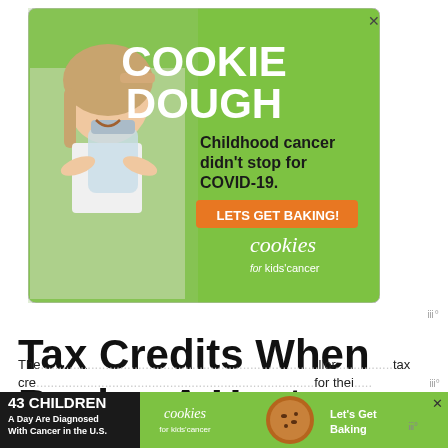[Figure (photo): Advertisement banner for 'Cookies for Kids Cancer' with green background, showing a girl holding a jar of money, text reading 'COOKIE DOUGH', 'Childhood cancer didn't stop for COVID-19.', 'LETS GET BAKING!', and 'cookies for kids' cancer' logo.]
Tax Credits When Buying A Heat Pump
The ... tax cre...                    llor ... for thei...
[Figure (photo): Bottom advertisement for 'Cookies for Kids' Cancer' with green background, black left section reading '43 CHILDREN A Day Are Diagnosed With Cancer in the U.S.', cookies logo in center, cookie image, and 'Let's Get Baking' text on right.]